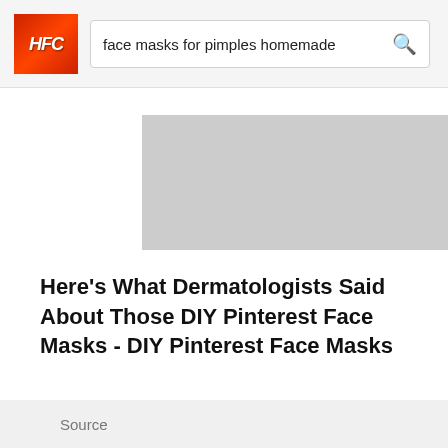face masks for pimples homemade
[Figure (other): Gray placeholder image (top)]
Here's What Dermatologists Said About Those DIY Pinterest Face Masks - DIY Pinterest Face Masks
Source
[Figure (other): Gray placeholder image (bottom)]